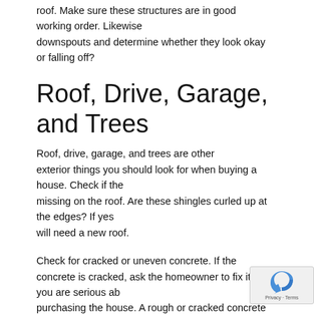roof. Make sure these structures are in good working order. Likewise downspouts and determine whether they look okay or falling off?
Roof, Drive, Garage, and Trees
Roof, drive, garage, and trees are other exterior things you should look for when buying a house. Check if the missing on the roof. Are these shingles curled up at the edges? If yes will need a new roof.
Check for cracked or uneven concrete. If the concrete is cracked, ask the homeowner to fix it if you are serious ab purchasing the house. A rough or cracked concrete can make it hard your family members uses a wheelchair or walking stick.
Moreover, if you have a car, you will want a carport or garage or at least a shelter with a roof. If there is no ga leave your vehicle on the street. Although it looks lovely, enough space on the street to park your park.